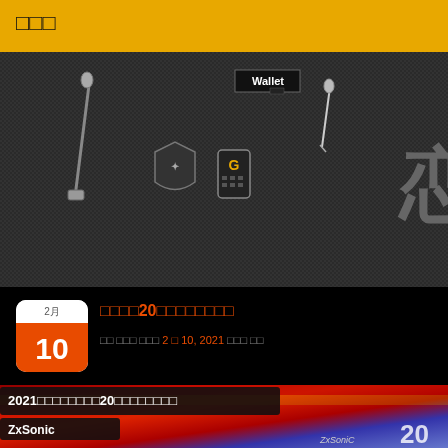□□□
[Figure (screenshot): Dark carbon-fiber style banner with icons: zipper, shield badge, phone/device, needle/pin, wallet label, face avatar with sunglasses and spiky hair, partial kanji character, ZxSonic branding]
[Figure (other): Calendar icon showing 2月 10 in orange/white]
□□□□20□□□□□□□□
□□ □□□ □□□ 2 □ 10, 2021 □□□ □□
[Figure (screenshot): Thumbnail image with red and blue flag-like colors, showing card with title 2021□□□□□□□□20□□□□□□□□ and author ZxSonic, number 20 visible bottom right]